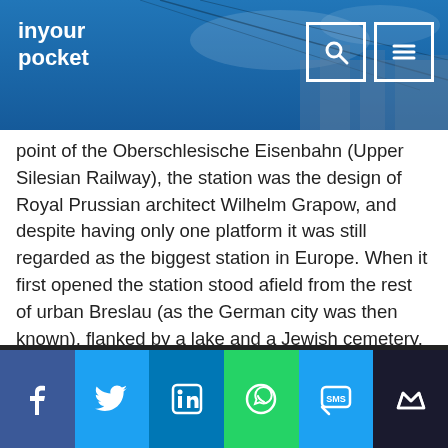inyour pocket
point of the Oberschlesische Eisenbahn (Upper Silesian Railway), the station was the design of Royal Prussian architect Wilhelm Grapow, and despite having only one platform it was still regarded as the biggest station in Europe. When it first opened the station stood afield from the rest of urban Breslau (as the German city was then known), flanked by a lake and a Jewish cemetery. However, as the city grew so did the need for more trains, and by 1904 five new platforms had been added. This era marked a golden age for the city, though calamity was never far away – the flood of 1903 devastated the area, with surviving postcards from the period depicting people rowing boats past the station. During WWII air raid shelters were built underneath the car park in front of